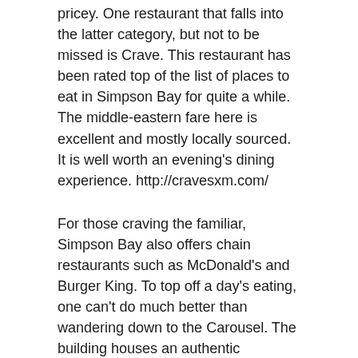pricey. One restaurant that falls into the latter category, but not to be missed is Crave. This restaurant has been rated top of the list of places to eat in Simpson Bay for quite a while. The middle-eastern fare here is excellent and mostly locally sourced. It is well worth an evening's dining experience. http://cravesxm.com/
For those craving the familiar, Simpson Bay also offers chain restaurants such as McDonald's and Burger King. To top off a day's eating, one can't do much better than wandering down to the Carousel. The building houses an authentic European carousel and an incredible array of ice cream, gelato and sorbet flavors served in many different ways.\
St. Martin
The French side of the island also offers a wide variety of food choices. Marigot is full of fine restaurants...